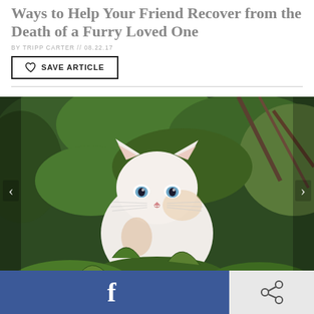Ways to Help Your Friend Recover from the Death of a Furry Loved One
BY TRIPP CARTER // 08.22.17
SAVE ARTICLE
[Figure (photo): A white cat with blue eyes sitting among green garden plants and foliage, with navigation arrows on left and right sides of the image.]
Facebook share button and share icon button in social bar at bottom